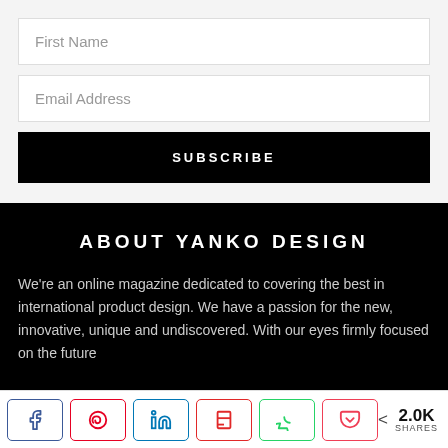First Name
Email Address
SUBSCRIBE
ABOUT YANKO DESIGN
We're an online magazine dedicated to covering the best in international product design. We have a passion for the new, innovative, unique and undiscovered. With our eyes firmly focused on the future
2.0K SHARES